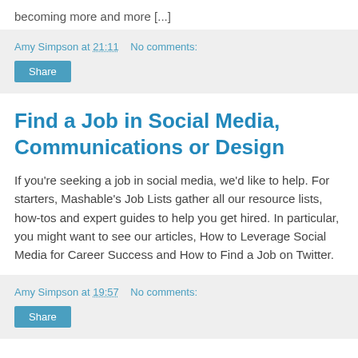becoming more and more [...]
Amy Simpson at 21:11   No comments:
Share
Find a Job in Social Media, Communications or Design
If you're seeking a job in social media, we'd like to help. For starters, Mashable's Job Lists gather all our resource lists, how-tos and expert guides to help you get hired. In particular, you might want to see our articles, How to Leverage Social Media for Career Success and How to Find a Job on Twitter.
Amy Simpson at 19:57   No comments:
Share